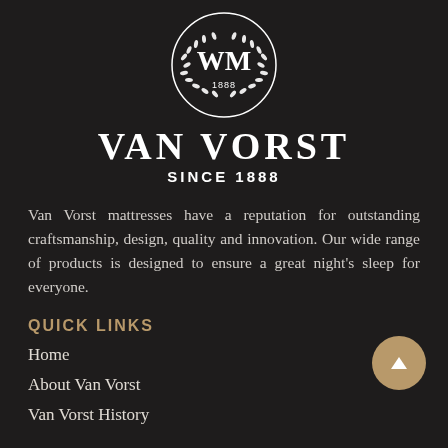[Figure (logo): Van Vorst circular crest logo with WM monogram, laurel wreath, and 1888 at center, white on dark background]
VAN VORST
SINCE 1888
Van Vorst mattresses have a reputation for outstanding craftsmanship, design, quality and innovation. Our wide range of products is designed to ensure a great night's sleep for everyone.
QUICK LINKS
Home
About Van Vorst
Van Vorst History